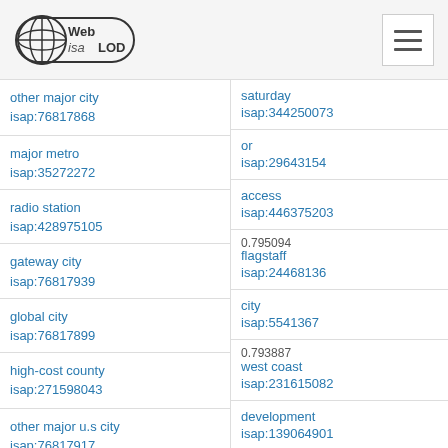Web isa LOD
| Term | ID | Term | ID |
| --- | --- | --- | --- |
| other major city | isap:76817868 | saturday | isap:344250073 |
|  |  | or | isap:29643154 |
| major metro | isap:35272272 | access | isap:446375203 |
| radio station | isap:428975105 | 0.795094 / flagstaff | isap:24468136 |
| gateway city | isap:76817939 | city | isap:5541367 |
| global city | isap:76817899 | 0.793887 / west coast | isap:231615082 |
| high-cost county | isap:271598043 | development | isap:139064901 |
| other major u.s city | isap:76817917 | california 0.791587 | isap:216911096 |
|  |  | texas | isap:228703677 |
| major urban school district | isap:48470510 | 0.791547 / or | isap:235282870 |
|  |  | road team | isap:8678833 |
| major urban | isap:76791296 | 0.790701 |  |